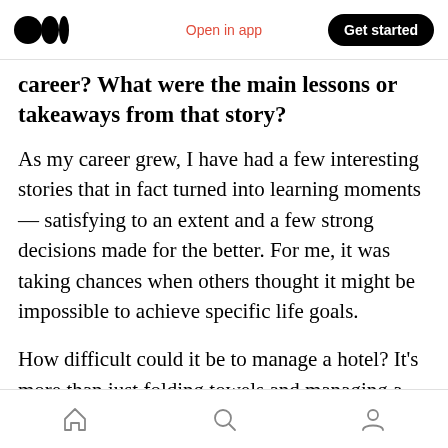Medium logo | Open in app | Get started
career? What were the main lessons or takeaways from that story?
As my career grew, I have had a few interesting stories that in fact turned into learning moments — satisfying to an extent and a few strong decisions made for the better. For me, it was taking chances when others thought it might be impossible to achieve specific life goals.
How difficult could it be to manage a hotel? It's more than just folding towels and managing a diverse workforce right?
Home | Search | Profile